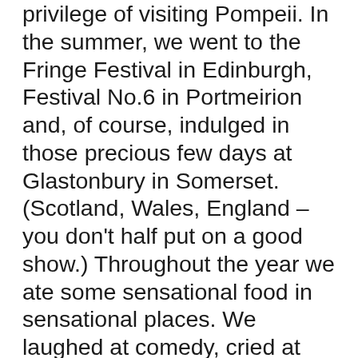privilege of visiting Pompeii. In the summer, we went to the Fringe Festival in Edinburgh, Festival No.6 in Portmeirion and, of course, indulged in those precious few days at Glastonbury in Somerset. (Scotland, Wales, England – you don't half put on a good show.) Throughout the year we ate some sensational food in sensational places. We laughed at comedy, cried at stops-you-in-your-tracks theatre and – well, I lost count of all the gigs. Some highlights, off the top of my head: Joanna Newsom at the Salle Gaveau, Blur at the